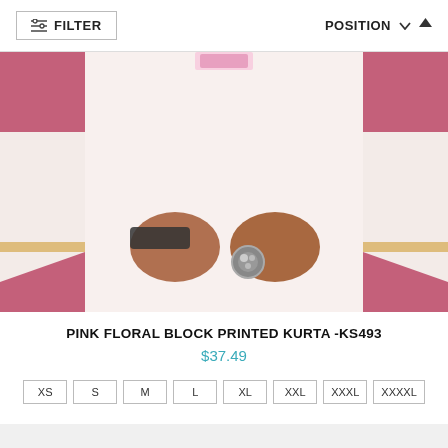FILTER   POSITION
[Figure (photo): Close-up photo of a woman wearing a white Pink Floral Block Printed Kurta with pink and olive green floral print. She has crossed hands visible with a wide bangle cuff and a large silver ring. Background is dusty rose/mauve pink.]
PINK FLORAL BLOCK PRINTED KURTA -KS493
$37.49
XS
S
M
L
XL
XXL
XXXL
XXXXL